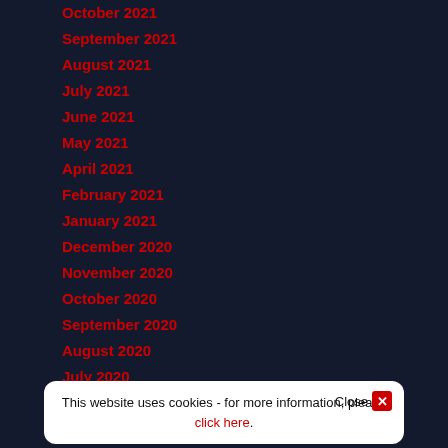October 2021
September 2021
August 2021
July 2021
June 2021
May 2021
April 2021
February 2021
January 2021
December 2020
November 2020
October 2020
September 2020
August 2020
July 2020
This website uses cookies - for more information, please click here. Close